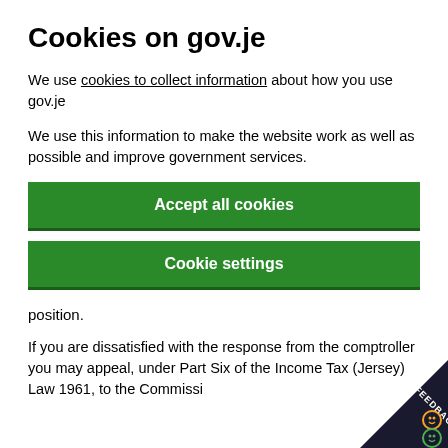Cookies on gov.je
We use cookies to collect information about how you use gov.je
We use this information to make the website work as well as possible and improve government services.
Accept all cookies
Cookie settings
position.
If you are dissatisfied with the response from the comptroller you may appeal, under Part Six of the Income Tax (Jersey) Law 1961, to the Commissi…